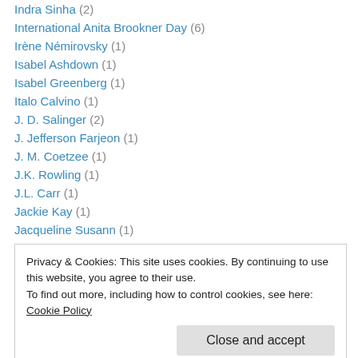Indra Sinha (2)
International Anita Brookner Day (6)
Irène Némirovsky (1)
Isabel Ashdown (1)
Isabel Greenberg (1)
Italo Calvino (1)
J. D. Salinger (2)
J. Jefferson Farjeon (1)
J. M. Coetzee (1)
J.K. Rowling (1)
J.L. Carr (1)
Jackie Kay (1)
Jacqueline Susann (1)
Privacy & Cookies: This site uses cookies. By continuing to use this website, you agree to their use. To find out more, including how to control cookies, see here: Cookie Policy
James Lever (1)